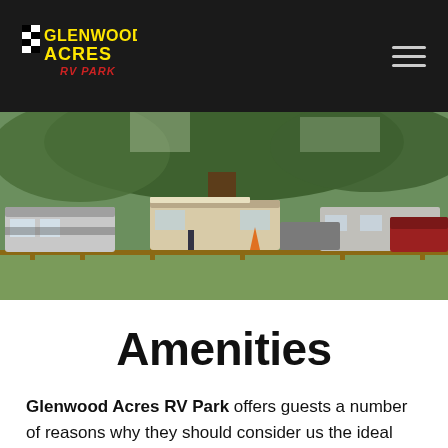Glenwood Acres RV Park — Navigation header with logo and hamburger menu
[Figure (photo): Outdoor photo of an RV park with multiple RVs and trailers parked under large trees, with wooden fencing and vehicles visible in the background]
Amenities
Glenwood Acres RV Park offers guests a number of reasons why they should consider us the ideal